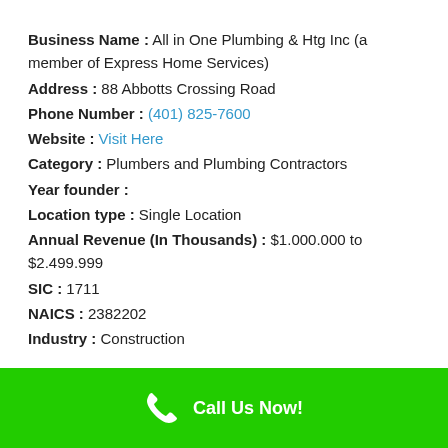Business Name : All in One Plumbing & Htg Inc (a member of Express Home Services)
Address : 88 Abbotts Crossing Road
Phone Number : (401) 825-7600
Website : Visit Here
Category : Plumbers and Plumbing Contractors
Year founder :
Location type : Single Location
Annual Revenue (In Thousands) : $1.000.000 to $2.499.999
SIC : 1711
NAICS : 2382202
Industry : Construction
Call Us Now!